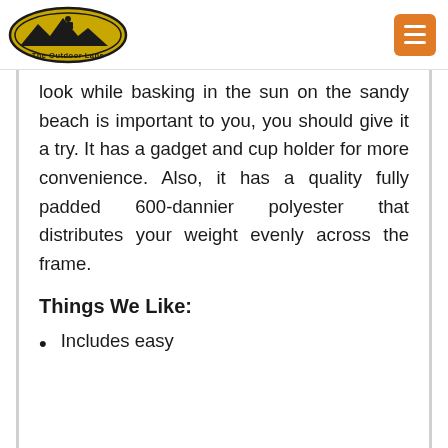The Outdoor Labs
look while basking in the sun on the sandy beach is important to you, you should give it a try. It has a gadget and cup holder for more convenience. Also, it has a quality fully padded 600-dannier polyester that distributes your weight evenly across the frame.
Things We Like:
Includes easy